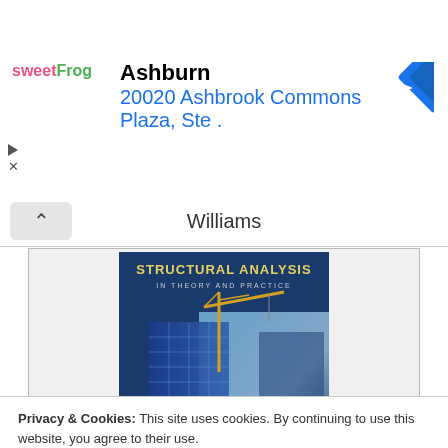[Figure (screenshot): Advertisement banner for sweetFrog frozen yogurt at Ashburn, 20020 Ashbrook Commons Plaza, Ste., with navigation arrow icon]
Williams
[Figure (photo): Book cover of 'Structural Analysis: In Theory and Practice' showing a glass skyscraper with a construction crane against a blue sky background]
Privacy & Cookies: This site uses cookies. By continuing to use this website, you agree to their use.
To find out more, including how to control cookies, see here: Cookie Policy
Close and accept